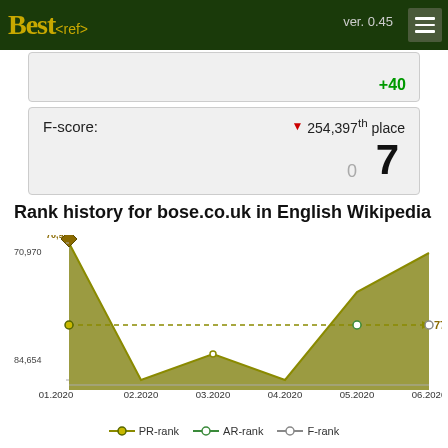Best<ref> ver. 0.45
+40
| F-score: | ▼ 254,397th place | 7 |
| --- | --- | --- |
Rank history for bose.co.uk in English Wikipedia
[Figure (area-chart): Rank history for bose.co.uk in English Wikipedia]
PR-rank   AR-rank   F-rank